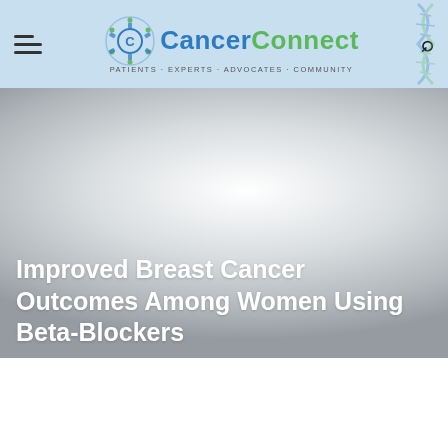CancerConnect — Patients · Experts · Advocates · Community
[Figure (screenshot): Hero image with a grey-to-white radial gradient background suggesting an out-of-focus medical/nature scene]
Improved Breast Cancer Outcomes Among Women Using Beta-Blockers